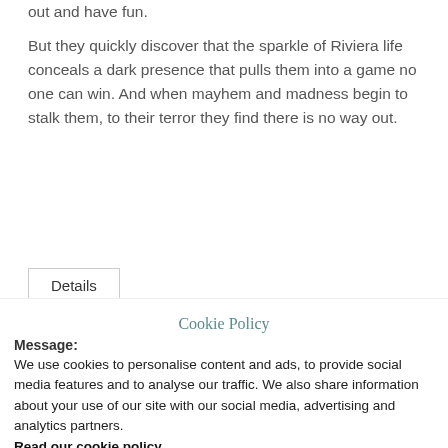out and have fun.
But they quickly discover that the sparkle of Riviera life conceals a dark presence that pulls them into a game no one can win. And when mayhem and madness begin to stalk them, to their terror they find there is no way out.
Details
Release Date: 27/02/1995
Sign up for the newsletter
Cookie Policy
Message:
We use cookies to personalise content and ads, to provide social media features and to analyse our traffic. We also share information about your use of our site with our social media, advertising and analytics partners. Read our cookie policy
Cookie settings
ACCEPT
x